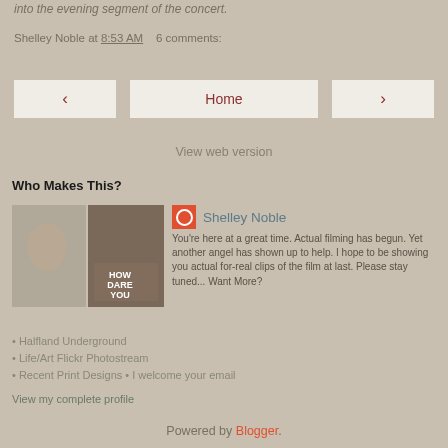into the evening segment of the concert.
Shelley Noble at 8:53 AM   6 comments:
[Figure (screenshot): Navigation buttons: left arrow, Home, right arrow]
View web version
Who Makes This?
[Figure (photo): Two profile photos of Shelley Noble side by side]
Shelley Noble
You're here at a great time. Actual filming has begun. Yet another angel has shown up to help. I hope to be showing you actual for-real clips of the film at last. Please stay tuned... Want More?
• Halfland Underground
• Life/Art Flickr Photostream
• Recent Print Designs • I welcome your email
View my complete profile
Powered by Blogger.